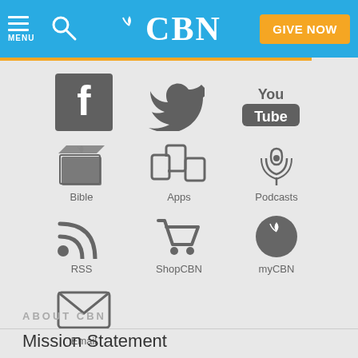CBN — MENU | Search | GIVE NOW
[Figure (logo): CBN website navigation page showing social media and app icons: Facebook, Twitter, YouTube, Bible, Apps, Podcasts, RSS, ShopCBN, myCBN, Email]
ABOUT CBN
Mission Statement